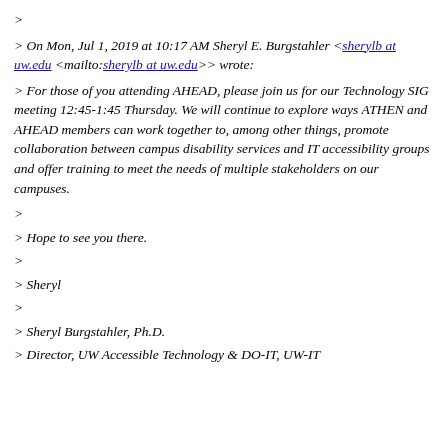>
> On Mon, Jul 1, 2019 at 10:17 AM Sheryl E. Burgstahler <sherylb at uw.edu <mailto:sherylb at uw.edu>> wrote:
> For those of you attending AHEAD, please join us for our Technology SIG meeting 12:45-1:45 Thursday. We will continue to explore ways ATHEN and AHEAD members can work together to, among other things, promote collaboration between campus disability services and IT accessibility groups and offer training to meet the needs of multiple stakeholders on our campuses.
>
> Hope to see you there.
>
> Sheryl
>
> Sheryl Burgstahler, Ph.D.
> Director, UW Accessible Technology & DO-IT, UW-IT